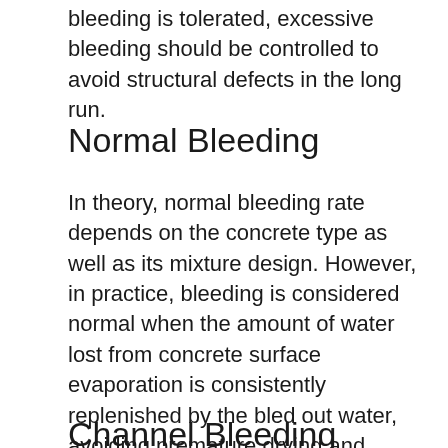bleeding is tolerated, excessive bleeding should be controlled to avoid structural defects in the long run.
Normal Bleeding
In theory, normal bleeding rate depends on the concrete type as well as its mixture design. However, in practice, bleeding is considered normal when the amount of water lost from concrete surface evaporation is consistently replenished by the bled out water, avoiding premature drying and crack defects. This is a highly ideal scenario which can be achieved by extensive design planning and considerations.
Channel Bleeding